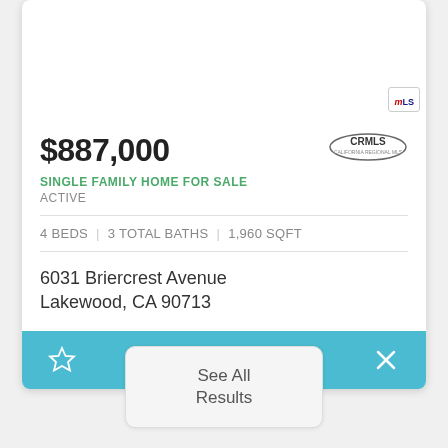[Figure (photo): Property photo showing green lawn on the left and stone/tile pathway on the right]
$887,000
SINGLE FAMILY HOME FOR SALE
ACTIVE
4 BEDS  |  3 TOTAL BATHS  |  1,960 SQFT
6031 Briercrest Avenue
Lakewood, CA 90713
See All Results